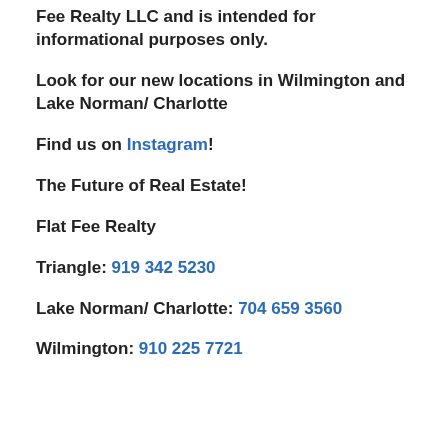Fee Realty LLC and is intended for informational purposes only.
Look for our new locations in Wilmington and Lake Norman/ Charlotte
Find us on Instagram!
The Future of Real Estate!
Flat Fee Realty
Triangle: 919 342 5230
Lake Norman/ Charlotte: 704 659 3560
Wilmington: 910 225 7721